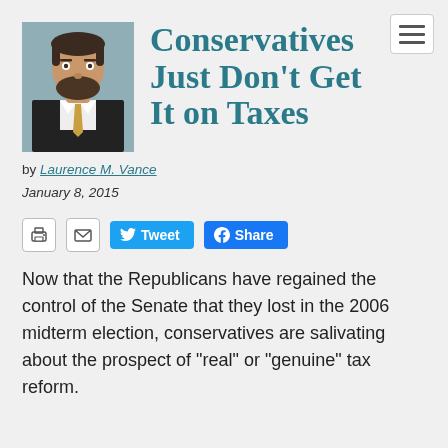[Figure (photo): Headshot of a man with a beard wearing a suit and tie, against a grey/teal background]
Conservatives Just Don't Get It on Taxes
by Laurence M. Vance
January 8, 2015
[Figure (other): Social sharing bar with print icon, email icon, Tweet button, and Share button]
Now that the Republicans have regained the control of the Senate that they lost in the 2006 midterm election, conservatives are salivating about the prospect of “real” or “genuine” tax reform.